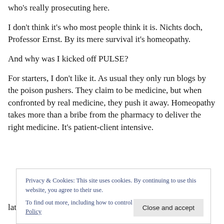who's really prosecuting here.
I don't think it's who most people think it is. Nichts doch, Professor Ernst. By its mere survival it's homeopathy.
And why was I kicked off PULSE?
For starters, I don't like it. As usual they only run blogs by the poison pushers. They claim to be medicine, but when confronted by real medicine, they push it away. Homeopathy takes more than a bribe from the pharmacy to deliver the right medicine. It's patient-client intensive.
latest potion at you.
Privacy & Cookies: This site uses cookies. By continuing to use this website, you agree to their use.
To find out more, including how to control cookies, see here: Cookie Policy